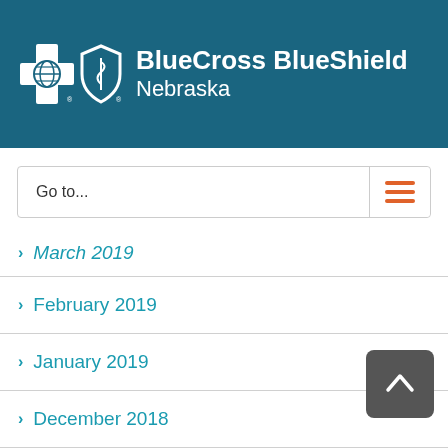[Figure (logo): BlueCross BlueShield Nebraska logo with cross and shield icons on teal background]
Go to...
> March 2019
> February 2019
> January 2019
> December 2018
> November 2018
> October 2018
> September 2018